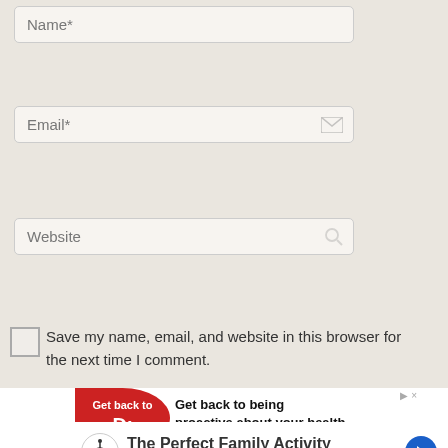Name*
Email*
Website
Save my name, email, and website in this browser for the next time I comment.
Submit
[Figure (screenshot): Advertisement banner: Get back to being proactive about your health, with red circle graphic and Get back to text]
[Figure (screenshot): Advertisement: The Perfect Family Activity - Topgolf, with Topgolf logo and navigation arrow icon]